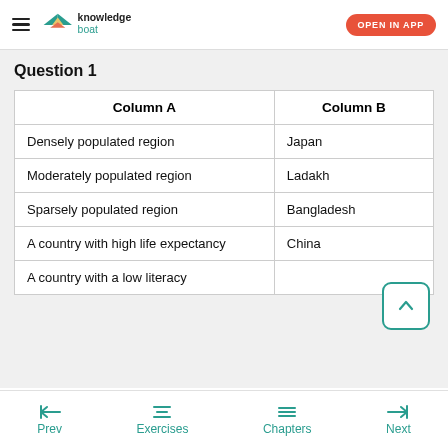knowledge boat | OPEN IN APP
Question 1
| Column A | Column B |
| --- | --- |
| Densely populated region | Japan |
| Moderately populated region | Ladakh |
| Sparsely populated region | Bangladesh |
| A country with high life expectancy | China |
| A country with a low literacy | ... |
Prev | Exercises | Chapters | Next